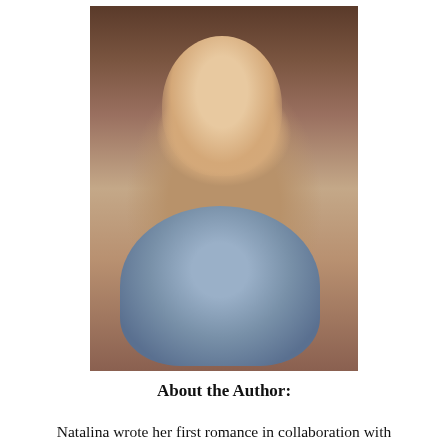[Figure (photo): Portrait photograph of a woman resting her chin on her hand, wearing a bracelet and hoop earrings, with short dark hair, smiling slightly.]
About the Author:
Natalina wrote her first romance in collaboration with her best friend at the age of 13. Since then she has